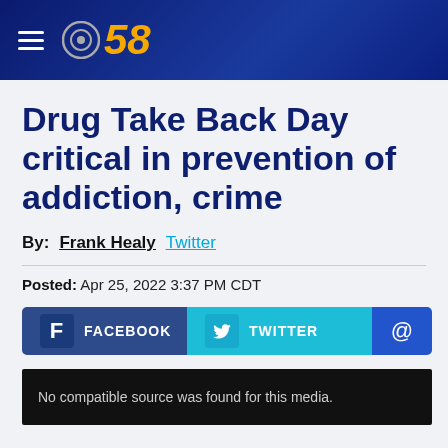CBS 58
Drug Take Back Day critical in prevention of addiction, crime
By: Frank Healy   Twitter
Posted: Apr 25, 2022 3:37 PM CDT
[Figure (screenshot): Social sharing buttons: Facebook, Twitter, and email (@)]
No compatible source was found for this media.